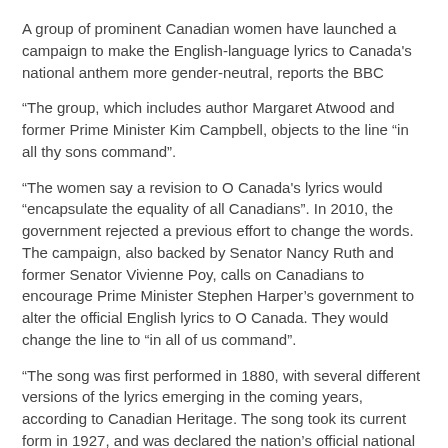A group of prominent Canadian women have launched a campaign to make the English-language lyrics to Canada's national anthem more gender-neutral, reports the BBC
“The group, which includes author Margaret Atwood and former Prime Minister Kim Campbell, objects to the line “in all thy sons command”.
“The women say a revision to O Canada's lyrics would “encapsulate the equality of all Canadians”. In 2010, the government rejected a previous effort to change the words. The campaign, also backed by Senator Nancy Ruth and former Senator Vivienne Poy, calls on Canadians to encourage Prime Minister Stephen Harper’s government to alter the official English lyrics to O Canada. They would change the line to “in all of us command”.
“The song was first performed in 1880, with several different versions of the lyrics emerging in the coming years, according to Canadian Heritage. The song took its current form in 1927, and was declared the nation’s official national anthem in 1980.
“The women say the English version of the song at one point contained the line “thou dost in us command”, with that line revised in 1913 to “in all thy sons command”. ‘Long overdue’ The proposed new lyrics coincide with the 100th anniversary of the revision, and’ll…